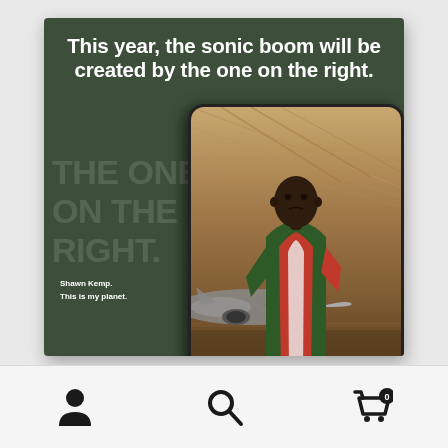[Figure (photo): Reebok advertisement featuring Shawn Kemp standing in front of a jet aircraft in a hangar, wearing a green/red jacket. Text overlay reads 'This year, the sonic boom will be created by the one on the right.' with tagline 'Shawn Kemp. This is my planet.' The ad uses a dark olive green background with a phone-frame inset showing the photo.]
This year, the sonic boom will be created by the one on the right.
Shawn Kemp.
This is my planet.
[Figure (screenshot): Mobile app bottom navigation bar with three icons: user/profile icon (left), search/magnifying glass icon (center), and shopping cart icon with badge showing '0' (right).]